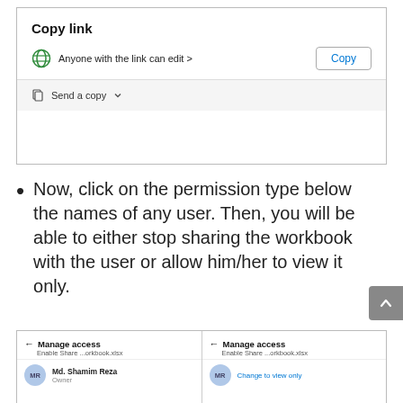[Figure (screenshot): A dialog box showing 'Copy link' section with a globe icon, 'Anyone with the link can edit >' text, a 'Copy' button, and a 'Send a copy' option with dropdown arrow]
Now, click on the permission type below the names of any user. Then, you will be able to either stop sharing the workbook with the user or allow him/her to view it only.
[Figure (screenshot): Two side-by-side screenshots of 'Manage access' panels for 'Enable Share ...orkbook.xlsx', each showing an MR avatar. Left shows user 'Md. Shamim Reza' as Owner. Right shows user with 'Change to view only' option.]